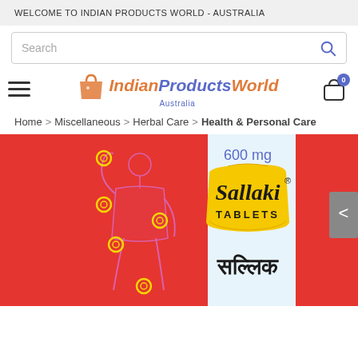WELCOME TO INDIAN PRODUCTS WORLD - AUSTRALIA
Search
[Figure (logo): IndianProductsWorld Australia logo with shopping bag icon]
Home > Miscellaneous > Herbal Care > Health & Personal Care
[Figure (photo): Sallaki Tablets 600mg product package — red box with yellow branded logo, Hindi text सल्लिक, and illustration of human figure with joint pain indicators]